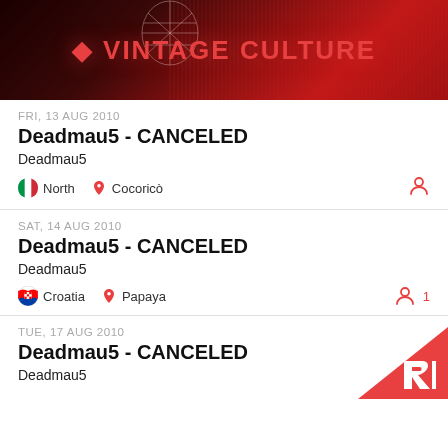[Figure (photo): Vintage Culture banner with dark red background, geometric face outline in wire-frame style, and large red VINTAGE CULTURE text]
FRI, 13 AUG 2010
Deadmau5 - CANCELED
Deadmau5
North  Cocoricò
SAT, 14 AUG 2010
Deadmau5 - CANCELED
Deadmau5
Croatia  Papaya  1
TUE, 17 AUG 2010
Deadmau5 - CANCELED
Deadmau5